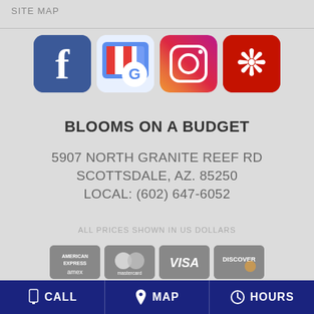SITE MAP
[Figure (logo): Four social media icons: Facebook (blue), Google My Business (blue/white with G), Instagram (gradient purple/orange), Yelp (red/white)]
BLOOMS ON A BUDGET
5907 NORTH GRANITE REEF RD
SCOTTSDALE, AZ. 85250
LOCAL: (602) 647-6052
ALL PRICES SHOWN IN US DOLLARS
[Figure (logo): Payment method icons: American Express, Mastercard, Visa, Discover, and partial icons in second row]
CALL   MAP   HOURS